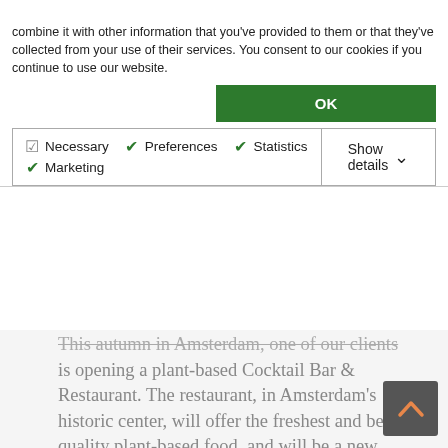combine it with other information that you've provided to them or that they've collected from your use of their services. You consent to our cookies if you continue to use our website.
OK
Necessary  Preferences  Statistics  Marketing  Show details
This autumn in Amsterdam, one of our clients is opening a plant-based Cocktail Bar & Restaurant. The restaurant, in Amsterdam's historic center, will offer the freshest and best quality plant-based food, and will be a new concept, a conscious, plant-based restaurant brand with a delicious Mexican twist. It's for this reason you're here right now: this business needs a head chef. To succeed in this role, two qualities are needed: the ability to manage a busy kitchen as well as the ability to cook delicious, modern, plant-based meals.